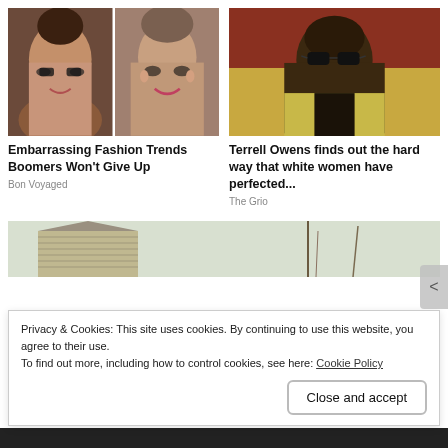[Figure (photo): Two women selfie photos side by side on the left card]
Embarrassing Fashion Trends Boomers Won't Give Up
Bon Voyaged
[Figure (photo): Man with sunglasses in yellow blazer at sporting event]
Terrell Owens finds out the hard way that white women have perfected...
The Grio
[Figure (photo): Partial image of a house exterior with trees]
Privacy & Cookies: This site uses cookies. By continuing to use this website, you agree to their use.
To find out more, including how to control cookies, see here: Cookie Policy
Close and accept